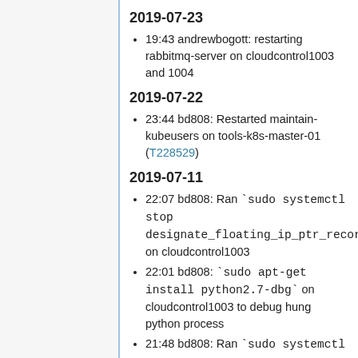2019-07-23
19:43 andrewbogott: restarting rabbitmq-server on cloudcontrol1003 and 1004
2019-07-22
23:44 bd808: Restarted maintain-kubeusers on tools-k8s-master-01 (T228529)
2019-07-11
22:07 bd808: Ran `sudo systemctl stop designate_floating_ip_ptr_records_upda on cloudcontrol1003
22:01 bd808: `sudo apt-get install python2.7-dbg` on cloudcontrol1003 to debug hung python process
21:48 bd808: Ran `sudo systemctl